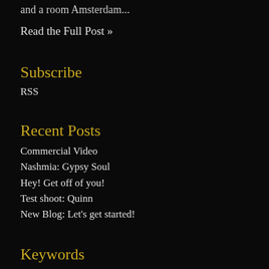and a room Amsterdam...
Read the Full Post »
Subscribe
RSS
Recent Posts
Commercial Video
Nashmia: Gypsy Soul
Hey! Get off of you!
Test shoot: Quinn
New Blog: Let's get started!
Keywords
photography
fashion
model
photoshoot
blog
videography